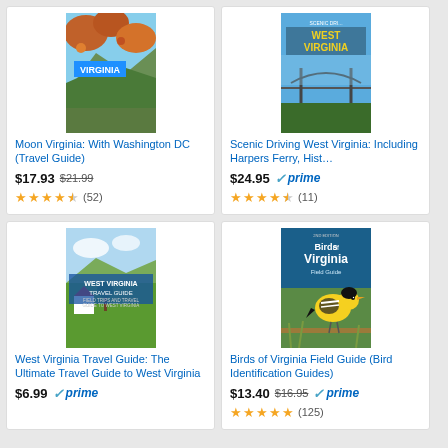[Figure (illustration): Book cover: Moon Virginia travel guide showing fall foliage and mountain landscape]
Moon Virginia: With Washington DC (Travel Guide)
$17.93  $21.99  ★★★★☆ (52)
[Figure (illustration): Book cover: Scenic Driving West Virginia showing bridge and landscape]
Scenic Driving West Virginia: Including Harpers Ferry, Hist…
$24.95  ✓prime  ★★★★☆ (11)
[Figure (illustration): Book cover: West Virginia Travel Guide showing farm and field]
West Virginia Travel Guide: The Ultimate Travel Guide to West Virginia
$6.99  ✓prime
[Figure (illustration): Book cover: Birds of Virginia Field Guide showing yellow goldfinch]
Birds of Virginia Field Guide (Bird Identification Guides)
$13.40  $16.95  ✓prime  ★★★★★ (125)